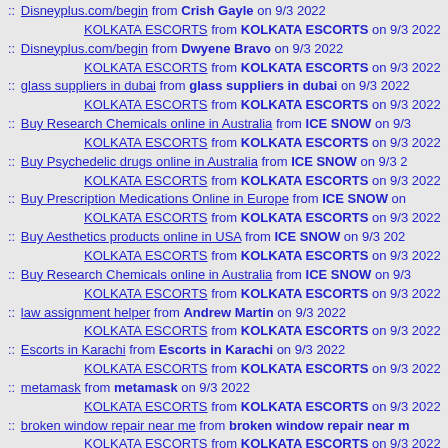:: Disneyplus.com/begin from Crish Gayle on 9/3 2022
KOLKATA ESCORTS from KOLKATA ESCORTS on 9/3 2022
:: Disneyplus.com/begin from Dwyene Bravo on 9/3 2022
KOLKATA ESCORTS from KOLKATA ESCORTS on 9/3 2022
:: glass suppliers in dubai from glass suppliers in dubai on 9/3 2022
KOLKATA ESCORTS from KOLKATA ESCORTS on 9/3 2022
:: Buy Research Chemicals online in Australia from ICE SNOW on 9/3
KOLKATA ESCORTS from KOLKATA ESCORTS on 9/3 2022
:: Buy Psychedelic drugs online in Australia from ICE SNOW on 9/3 2
KOLKATA ESCORTS from KOLKATA ESCORTS on 9/3 2022
:: Buy Prescription Medications Online in Europe from ICE SNOW on
KOLKATA ESCORTS from KOLKATA ESCORTS on 9/3 2022
:: Buy Aesthetics products online in USA from ICE SNOW on 9/3 202
KOLKATA ESCORTS from KOLKATA ESCORTS on 9/3 2022
:: Buy Research Chemicals online in Australia from ICE SNOW on 9/3
KOLKATA ESCORTS from KOLKATA ESCORTS on 9/3 2022
:: law assignment helper from Andrew Martin on 9/3 2022
KOLKATA ESCORTS from KOLKATA ESCORTS on 9/3 2022
:: Escorts in Karachi from Escorts in Karachi on 9/3 2022
KOLKATA ESCORTS from KOLKATA ESCORTS on 9/3 2022
:: metamask from metamask on 9/3 2022
KOLKATA ESCORTS from KOLKATA ESCORTS on 9/3 2022
:: broken window repair near me from broken window repair near m
KOLKATA ESCORTS from KOLKATA ESCORTS on 9/3 2022
:: ovo88 situs slot paling gacor from ovo88 on 9/3 2022
KOLKATA ESCORTS from KOLKATA ESCORTS on 9/3 2022
:: Buy fast weight loss pills from https://easylooseweightt.com/ from fr
KOLKATA ESCORTS from KOLKATA ESCORTS on 9/3 2022
:: Recharge Your sexual Life by Using Super Fildena medicine from T
KOLKATA ESCORTS from KOLKATA ESCORTS on 9/3 2022